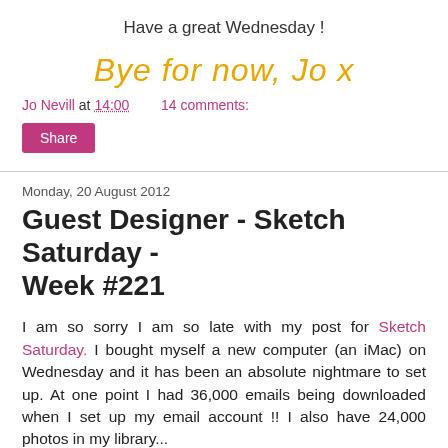Have a great Wednesday !
[Figure (illustration): Handwritten cursive text in golden/yellow color reading 'Bye for now, Jo x']
Jo Nevill at 14:00   14 comments:
Share
Monday, 20 August 2012
Guest Designer - Sketch Saturday - Week #221
I am so sorry I am so late with my post for Sketch Saturday. I bought myself a new computer (an iMac) on Wednesday and it has been an absolute nightmare to set up. At one point I had 36,000 emails being downloaded when I set up my email account !! I also have 24,000 photos in my library...